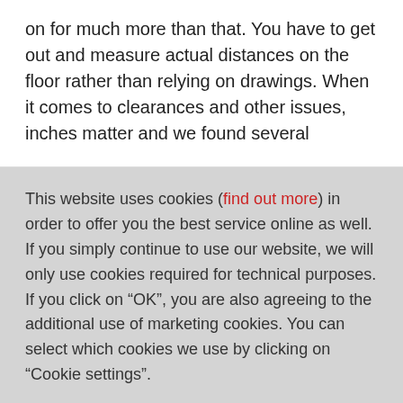on for much more than that. You have to get out and measure actual distances on the floor rather than relying on drawings. When it comes to clearances and other issues, inches matter and we found several
This website uses cookies (find out more) in order to offer you the best service online as well. If you simply continue to use our website, we will only use cookies required for technical purposes. If you click on “OK”, you are also agreeing to the additional use of marketing cookies. You can select which cookies we use by clicking on “Cookie settings”.
Cookie settings